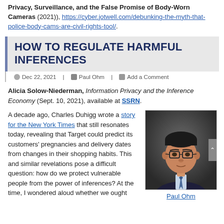Privacy, Surveillance, and the False Promise of Body-Worn Cameras (2021)), https://cyber.jotwell.com/debunking-the-myth-that-police-body-cams-are-civil-rights-tool/.
HOW TO REGULATE HARMFUL INFERENCES
Dec 22, 2021 | Paul Ohm | Add a Comment
Alicia Solow-Niederman, Information Privacy and the Inference Economy (Sept. 10, 2021), available at SSRN.
A decade ago, Charles Duhigg wrote a story for the New York Times that still resonates today, revealing that Target could predict its customers' pregnancies and delivery dates from changes in their shopping habits. This and similar revelations pose a difficult question: how do we protect vulnerable people from the power of inferences? At the time, I wondered aloud whether we ought
[Figure (photo): Portrait photo of Paul Ohm, an Asian-American man wearing glasses and a suit with a striped tie, against a dark background.]
Paul Ohm